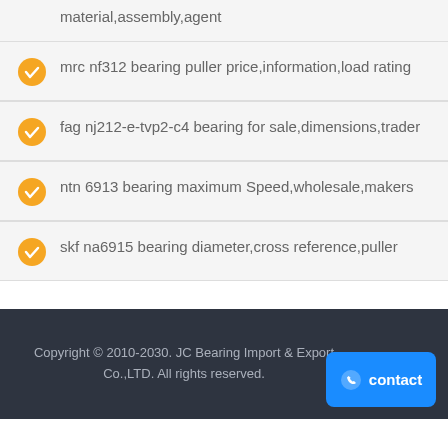material,assembly,agent
mrc nf312 bearing puller price,information,load rating
fag nj212-e-tvp2-c4 bearing for sale,dimensions,trader
ntn 6913 bearing maximum Speed,wholesale,makers
skf na6915 bearing diameter,cross reference,puller
Copyright © 2010-2030. JC Bearing Import & Export Co.,LTD. All rights reserved.